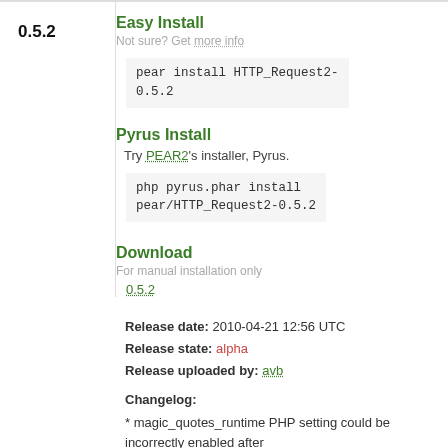0.5.2
Easy Install
Not sure? Get more info
pear install HTTP_Request2-0.5.2
Pyrus Install
Try PEAR2's installer, Pyrus.
php pyrus.phar install pear/HTTP_Request2-0.5.2
Download
For manual installation only
0.5.2
Release date: 2010-04-21 12:56 UTC
Release state: alpha
Release uploaded by: avb
Changelog:
* magic_quotes_runtime PHP setting could be incorrectly enabled after